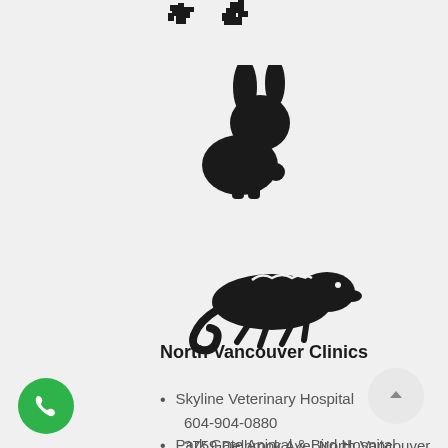[Figure (illustration): Small pixel-art animal icons (bird/turtle) at top, partially visible]
[Figure (illustration): Black silhouette icon of a rabbit]
[Figure (illustration): Black silhouette icon of a chameleon]
North Vancouver Clinics
Skyline Veterinary Hospital
604-904-0880
3759 Delbrook Ave, North Vancouver
Park Gate Animal & Bird Hospital
604-929-1863
#170 – 3650 Mt. Seymour Parkway,